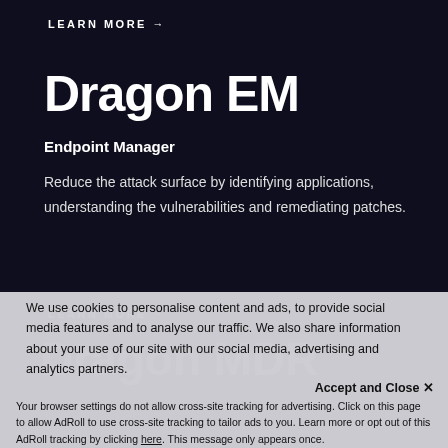LEARN MORE →
Dragon EM
Endpoint Manager
Reduce the attack surface by identifying applications, understanding the vulnerabilities and remediating patches.
LEARN MORE →
Dragon MDR
We use cookies to personalise content and ads, to provide social media features and to analyse our traffic. We also share information about your use of our site with our social media, advertising and analytics partners.
Accept and Close ✕
Your browser settings do not allow cross-site tracking for advertising. Click on this page to allow AdRoll to use cross-site tracking to tailor ads to you. Learn more or opt out of this AdRoll tracking by clicking here. This message only appears once.